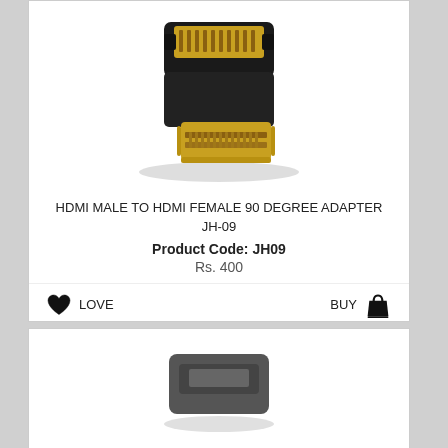[Figure (photo): HDMI male to HDMI female 90 degree adapter product photo showing gold-plated black adapter connector]
HDMI MALE TO HDMI FEMALE 90 DEGREE ADAPTER JH-09
Product Code: JH09
Rs. 400
LOVE
BUY
[Figure (photo): Second product photo partially visible showing a dark gray adapter/connector]